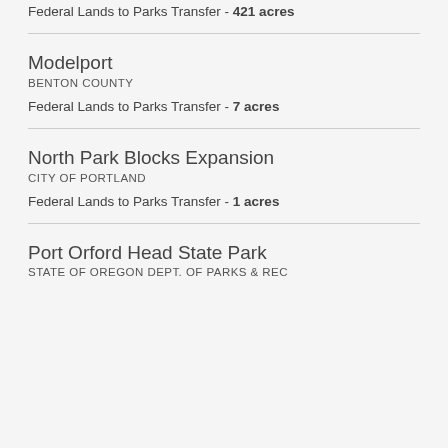Federal Lands to Parks Transfer - 421 acres
Modelport
BENTON COUNTY
Federal Lands to Parks Transfer - 7 acres
North Park Blocks Expansion
CITY OF PORTLAND
Federal Lands to Parks Transfer - 1 acres
Port Orford Head State Park
STATE OF OREGON DEPT. OF PARKS & REC